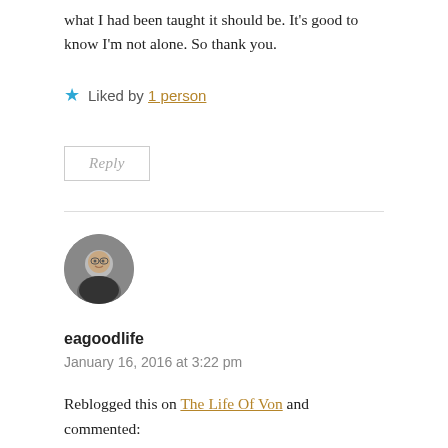what I had been taught it should be. It's good to know I'm not alone. So thank you.
★ Liked by 1 person
Reply
eagoodlife
January 16, 2016 at 3:22 pm
Reblogged this on The Life Of Von and commented:
"Not all trans people realize they are trans at a time that they're ready to – they simply are, and they have to navigate